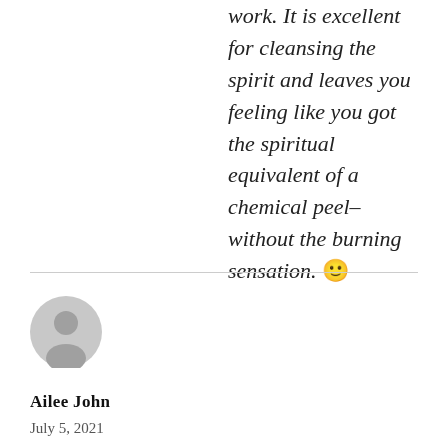work. It is excellent for cleansing the spirit and leaves you feeling like you got the spiritual equivalent of a chemical peel–without the burning sensation. 🙂
[Figure (illustration): Grey default user avatar icon (circle with person silhouette)]
Ailee John
July 5, 2021